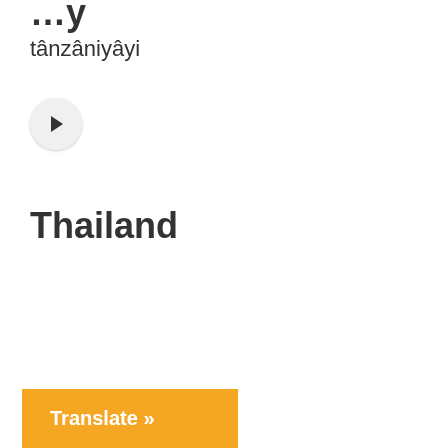...y
tânzâniyâyi
[Figure (other): Audio play button - circular button with play triangle icon]
Thailand
Translate »